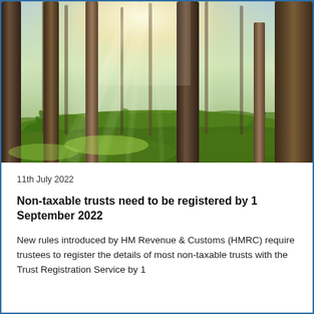[Figure (photo): A sunlit forest with tall tree trunks, green moss on the ground, and light filtering through the canopy creating a misty atmosphere.]
11th July 2022
Non-taxable trusts need to be registered by 1 September 2022
New rules introduced by HM Revenue & Customs (HMRC) require trustees to register the details of most non-taxable trusts with the Trust Registration Service by 1